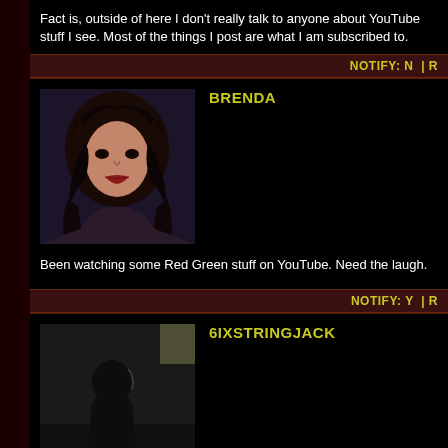Fact is, outside of here I don't really talk to anyone about YouTube stuff I see. Most of the things I post are what I am subscribed to.
NOTIFY: N  | R
[Figure (photo): Avatar photo of user BRENDA - woman with dark curly hair]
BRENDA
Been watching some Red Green stuff on YouTube. Need the laugh.
NOTIFY: Y  | R
[Figure (photo): Avatar photo of user 6IXSTRINGJACK - dark silhouette figure]
6IXSTRINGJACK
What's Red Green?